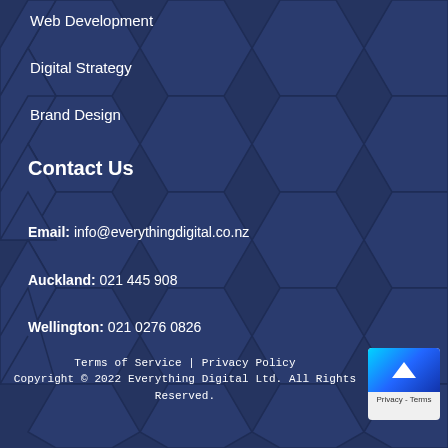Web Development
Digital Strategy
Brand Design
Contact Us
Email: info@everythingdigital.co.nz
Auckland: 021 445 908
Wellington: 021 0276 0826
Terms of Service | Privacy Policy
Copyright © 2022 Everything Digital Ltd. All Rights Reserved.